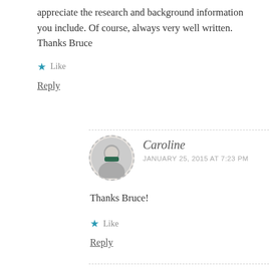appreciate the research and background information you include. Of course, always very well written. Thanks Bruce
Like
Reply
Caroline
JANUARY 25, 2015 AT 7:23 PM
Thanks Bruce!
Like
Reply